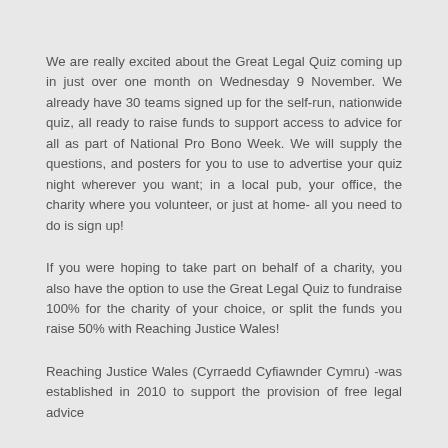We are really excited about the Great Legal Quiz coming up in just over one month on Wednesday 9 November. We already have 30 teams signed up for the self-run, nationwide quiz, all ready to raise funds to support access to advice for all as part of National Pro Bono Week. We will supply the questions, and posters for you to use to advertise your quiz night wherever you want; in a local pub, your office, the charity where you volunteer, or just at home- all you need to do is sign up!
If you were hoping to take part on behalf of a charity, you also have the option to use the Great Legal Quiz to fundraise 100% for the charity of your choice, or split the funds you raise 50% with Reaching Justice Wales!
Reaching Justice Wales (Cyrraedd Cyfiawnder Cymru) -was established in 2010 to support the provision of free legal advice